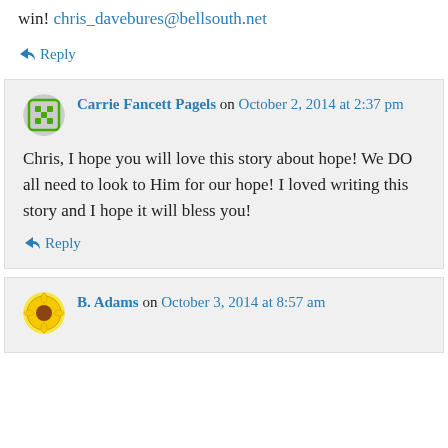win! chris_davebures@bellsouth.net
↪ Reply
Carrie Fancett Pagels on October 2, 2014 at 2:37 pm
Chris, I hope you will love this story about hope! We DO all need to look to Him for our hope! I loved writing this story and I hope it will bless you!
↪ Reply
B. Adams on October 3, 2014 at 8:57 am